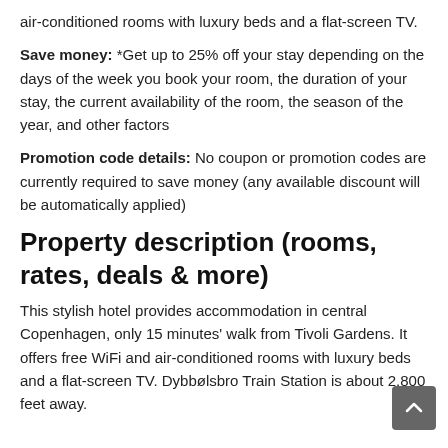air-conditioned rooms with luxury beds and a flat-screen TV.
Save money: *Get up to 25% off your stay depending on the days of the week you book your room, the duration of your stay, the current availability of the room, the season of the year, and other factors
Promotion code details: No coupon or promotion codes are currently required to save money (any available discount will be automatically applied)
Property description (rooms, rates, deals & more)
This stylish hotel provides accommodation in central Copenhagen, only 15 minutes' walk from Tivoli Gardens. It offers free WiFi and air-conditioned rooms with luxury beds and a flat-screen TV. Dybbølsbro Train Station is about 2,800 feet away.